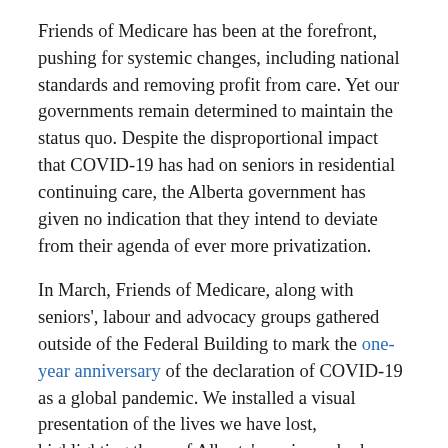Friends of Medicare has been at the forefront, pushing for systemic changes, including national standards and removing profit from care. Yet our governments remain determined to maintain the status quo. Despite the disproportional impact that COVID-19 has had on seniors in residential continuing care, the Alberta government has given no indication that they intend to deviate from their agenda of ever more privatization.
In March, Friends of Medicare, along with seniors', labour and advocacy groups gathered outside of the Federal Building to mark the one-year anniversary of the declaration of COVID-19 as a global pandemic. We installed a visual presentation of the lives we have lost, highlighting those of Alberta's seniors who have been disproportionately affected, and called for changes in seniors' care in this province.